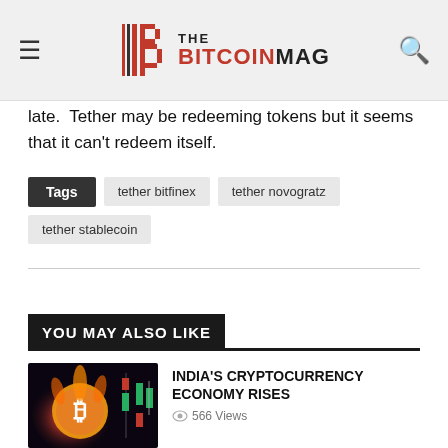THE BITCOINMAG
late.  Tether may be redeeming tokens but it seems that it can't redeem itself.
Tags  tether bitfinex  tether novogratz  tether stablecoin
YOU MAY ALSO LIKE
[Figure (photo): Bitcoin coin with flames and stock chart candlesticks in the background]
INDIA'S CRYPTOCURRENCY ECONOMY RISES
566 Views